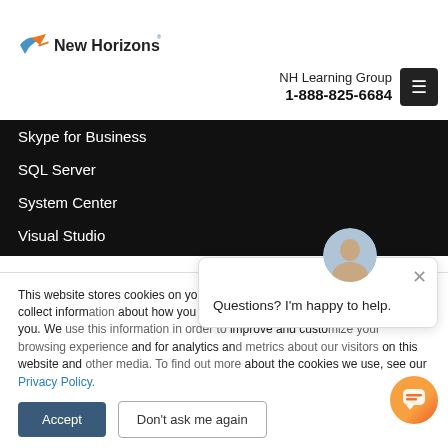[Figure (logo): New Horizons logo with stylized wing/arrow icon and text 'New Horizons']
NH Learning Group
1-888-825-6684
Skype for Business
SQL Server
System Center
Visual Studio
This website stores cookies on your computer. These cookies are used to collect information about how you interact with our website and remember you. We use this information in order to improve and customize your browsing experience and for analytics and metrics about our visitors on this website and other media. To find out more about the cookies we use, see our Privacy Policy.
Questions? I'm happy to help.